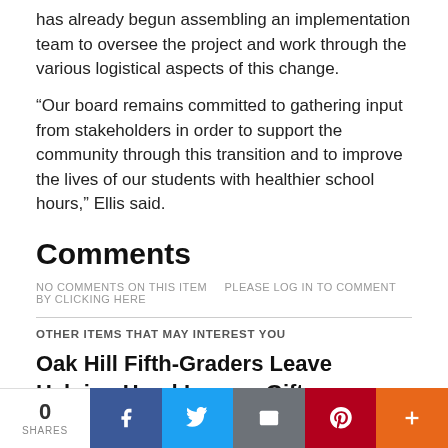has already begun assembling an implementation team to oversee the project and work through the various logistical aspects of this change.
“Our board remains committed to gathering input from stakeholders in order to support the community through this transition and to improve the lives of our students with healthier school hours,” Ellis said.
Comments
NO COMMENTS ON THIS ITEM   PLEASE LOG IN TO COMMENT BY CLICKING HERE
OTHER ITEMS THAT MAY INTEREST YOU
Oak Hill Fifth-Graders Leave Helping Hand Legacy Gift
WoodsWork Mission Trip Builds Home